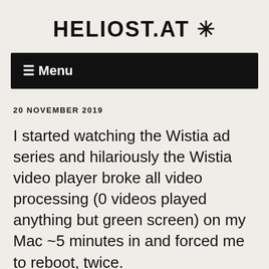HELIOST.AT ✳
☰ Menu
20 NOVEMBER 2019
I started watching the Wistia ad series and hilariously the Wistia video player broke all video processing (0 videos played anything but green screen) on my Mac ~5 minutes in and forced me to reboot, twice. https://i.heliost.at/2019-